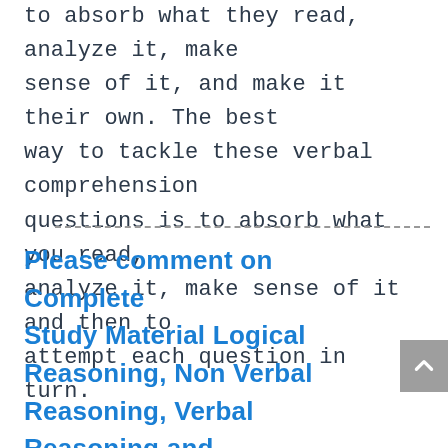to absorb what they read, analyze it, make sense of it, and make it their own. The best way to tackle these verbal comprehension questions is to absorb what you read, analyze it, make sense of it and then to attempt each question in turn.
Please comment on Complete Study Material Logical Reasoning, Non Verbal Reasoning, Verbal Reasoning and Verbal Ability.